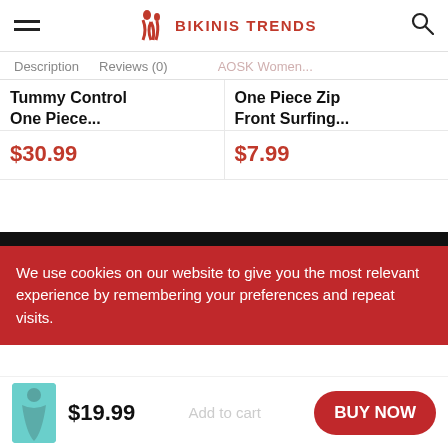BIKINIS TRENDS
Description   Reviews (0)
Tummy Control One Piece...
$30.99
One Piece Zip Front Surfing...
$7.99
We use cookies on our website to give you the most relevant experience by remembering your preferences and repeat visits.
$19.99
BUY NOW